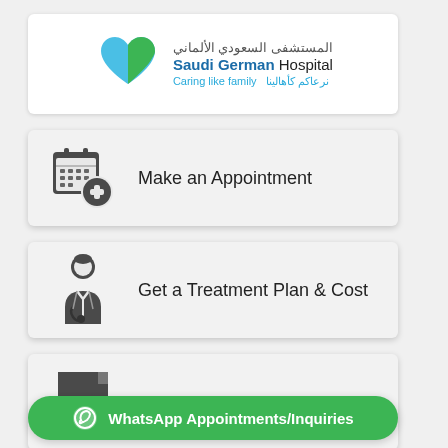[Figure (logo): Saudi German Hospital logo with heart icon in blue and green, Arabic text المستشفى السعودي الألماني, bold name Saudi German Hospital, tagline Caring like family / نرعاكم كأهالينا]
[Figure (infographic): Make an Appointment button card with calendar+plus icon]
Make an Appointment
[Figure (infographic): Get a Treatment Plan & Cost button card with doctor icon]
Get a Treatment Plan & Cost
[Figure (infographic): Third action card with document/pen icon, partially visible]
WhatsApp Appointments/Inquiries